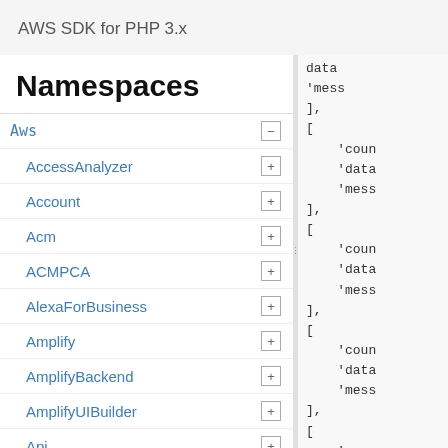AWS SDK for PHP 3.x
Namespaces
Aws
AccessAnalyzer
Account
Acm
ACMPCA
AlexaForBusiness
Amplify
AmplifyBackend
AmplifyUIBuilder
Api
ApiGateway
ApiGatewayManagementApi
data
'mess
],
[
    'coun
    'data
    'mess
],
[
    'coun
    'data
    'mess
],
[
    'coun
    'data
    'mess
],
[
    'coun
    'data
    'mess